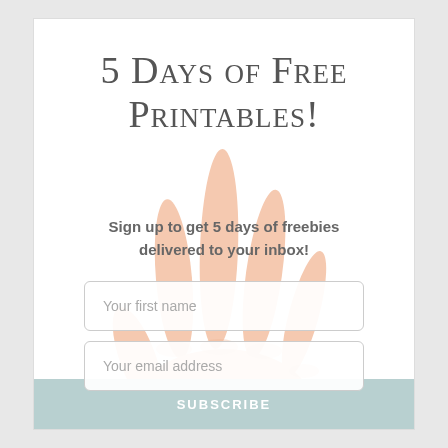5 Days of Free Printables!
[Figure (photo): A child's hand with five fingers spread open, shown against a white background, positioned in the center of the card behind the text and form elements.]
Sign up to get 5 days of freebies delivered to your inbox!
Your first name
Your email address
SUBSCRIBE